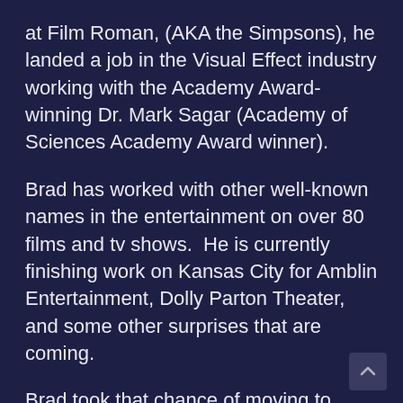at Film Roman, (AKA the Simpsons), he landed a job in the Visual Effect industry working with the Academy Award-winning Dr. Mark Sagar (Academy of Sciences Academy Award winner).
Brad has worked with other well-known names in the entertainment on over 80 films and tv shows.  He is currently finishing work on Kansas City for Amblin Entertainment, Dolly Parton Theater, and some other surprises that are coming.
Brad took that chance of moving to California where at that time, everything happened in the entertainment industry, to pursue his dream and his love of working in the entertainment industry as a digital VFX artist, producer, and